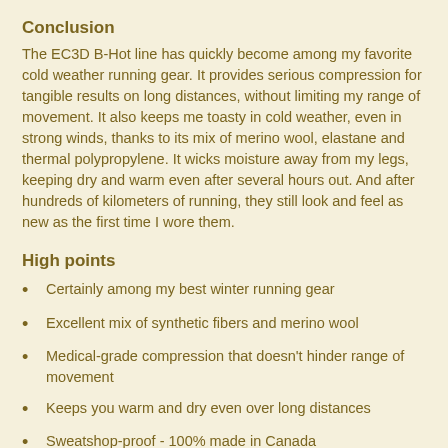Conclusion
The EC3D B-Hot line has quickly become among my favorite cold weather running gear. It provides serious compression for tangible results on long distances, without limiting my range of movement. It also keeps me toasty in cold weather, even in strong winds, thanks to its mix of merino wool, elastane and thermal polypropylene. It wicks moisture away from my legs, keeping dry and warm even after several hours out. And after hundreds of kilometers of running, they still look and feel as new as the first time I wore them.
High points
Certainly among my best winter running gear
Excellent mix of synthetic fibers and merino wool
Medical-grade compression that doesn't hinder range of movement
Keeps you warm and dry even over long distances
Sweatshop-proof - 100% made in Canada